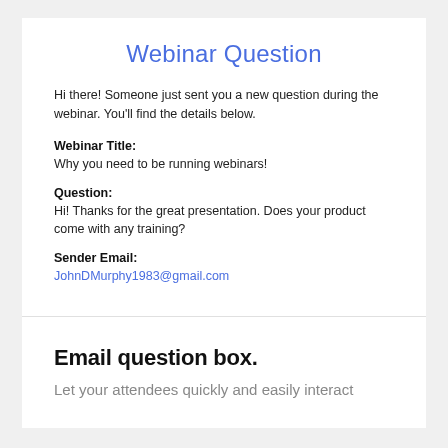Webinar Question
Hi there! Someone just sent you a new question during the webinar. You'll find the details below.
Webinar Title:
Why you need to be running webinars!
Question:
Hi! Thanks for the great presentation. Does your product come with any training?
Sender Email:
JohnDMurphy1983@gmail.com
Email question box.
Let your attendees quickly and easily interact